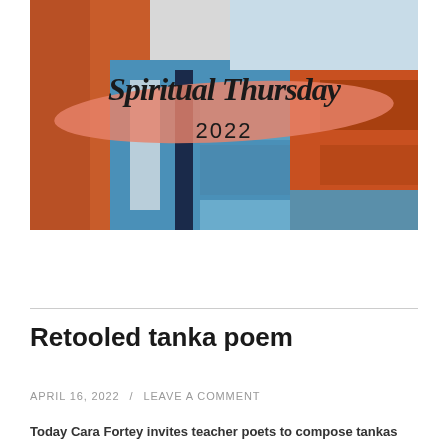[Figure (illustration): Abstract painting with orange, blue, white and dark navy brushstrokes. Overlaid text reads 'Spiritual Thursday' in a handwritten/script font and '2022' in a sans-serif font. A salmon/coral paint brushstroke runs diagonally behind the text.]
Retooled tanka poem
APRIL 16, 2022 / LEAVE A COMMENT
Today Cara Fortey invites teacher poets to compose tankas